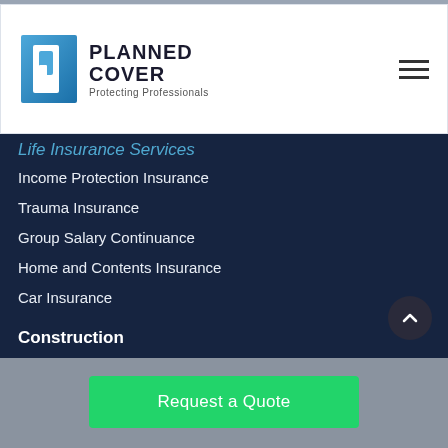[Figure (logo): Planned Cover logo with blue square icon and text 'PLANNED COVER - Protecting Professionals']
Life Insurance Services
Income Protection Insurance
Trauma Insurance
Group Salary Continuance
Home and Contents Insurance
Car Insurance
Construction
Contract Works Insurance
Plant and Equipment Insurance
Design and Construct Professional Indemnity
Builders Warranty Insurance
Insurance For Trades
Property Insurance
Trade Credit
Request a Quote